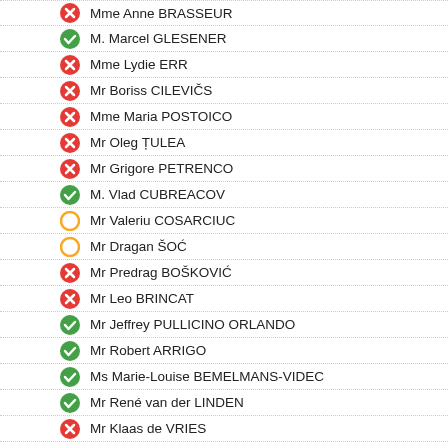Mme Anne BRASSEUR
M. Marcel GLESENER
Mme Lydie ERR
Mr Boriss CILEVIČS
Mme Maria POSTOICO
Mr Oleg ȚULEA
Mr Grigore PETRENCO
M. Vlad CUBREACOV
Mr Valeriu COSARCIUC
Mr Dragan ŠOĆ
Mr Predrag BOŠKOVIĆ
Mr Leo BRINCAT
Mr Jeffrey PULLICINO ORLANDO
Mr Robert ARRIGO
Ms Marie-Louise BEMELMANS-VIDEC
Mr René van der LINDEN
Mr Klaas de VRIES